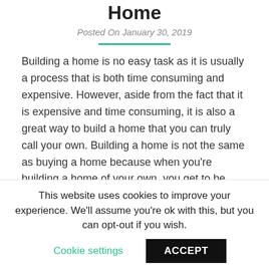Home
Posted On January 30, 2019
Building a home is no easy task as it is usually a process that is both time consuming and expensive. However, aside from the fact that it is expensive and time consuming, it is also a great way to build a home that you can truly call your own. Building a home is not the same as buying a home because when you're building a home of your own, you get to be very hands on with the designing of the house and you get to build a house with a floor plan that you approve of and due to these many reasons, building a house of your own gives the household a very personalized and
This website uses cookies to improve your experience. We'll assume you're ok with this, but you can opt-out if you wish.
Cookie settings
ACCEPT